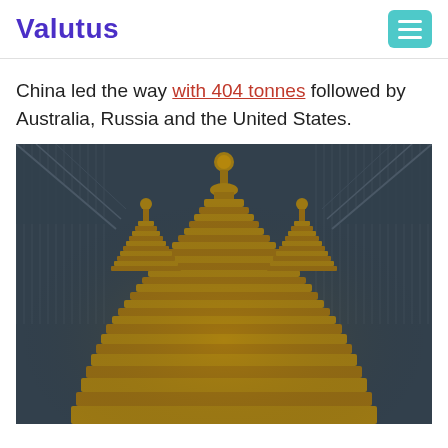Valutus
China led the way with 404 tonnes followed by Australia, Russia and the United States.
[Figure (photo): Golden ornate temple or pagoda structures with stacked tiered roofs, photographed inside a large industrial warehouse with corrugated metal walls and roof. The golden decorative architecture features multiple spires with ball finials, intricate layered details, and ornamental elements.]